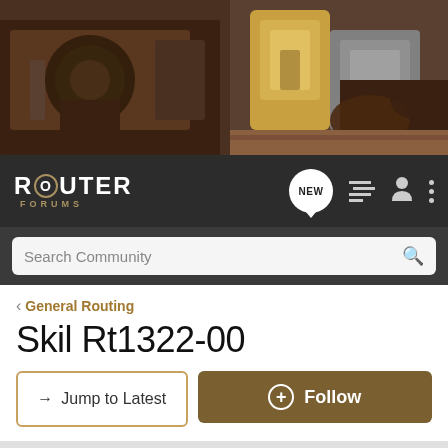[Figure (photo): Hero banner showing woodworking tools including routers and power tools on a workbench]
ROUTER FORUMS — navigation bar with NEW, list, user, and menu icons; Search Community search bar
< General Routing
Skil Rt1322-00
→ Jump to Latest    + Follow
1 - 9 of 9 Posts
Rob Bragg · Registered 🇺🇸
Joined Feb 7, 2017 · 23 Posts